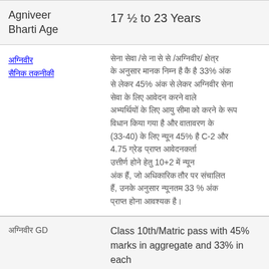| Category | Details |
| --- | --- |
| Agniveer Bharti Age | 17 ½ to 23 Years |
| [Hindi text - Educational Qualification] | [Hindi text describing qualification criteria with 33%, 45%, C-2, 4.75, 10+2, 33% marks conditions] |
| [Hindi text] GD | Class 10th/Matric pass with 45% marks in aggregate and 33% in each subject. For Boards following |